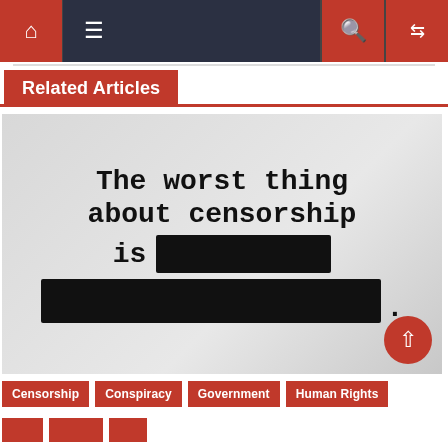Navigation bar with home, menu, search, and shuffle icons
Related Articles
[Figure (illustration): Image with light gray background and large serif/typewriter-style text reading: 'The worst thing about censorship is [black redacted bar] [black redacted bar].' with two black redacted rectangles covering words.]
Censorship
Conspiracy
Government
Human Rights